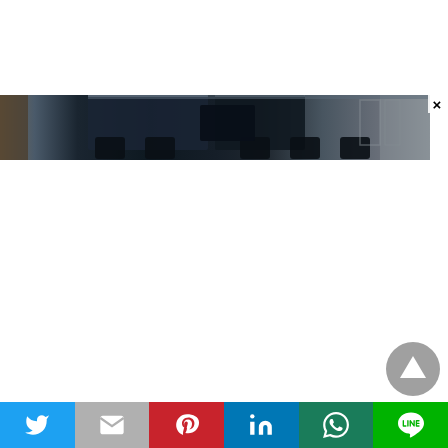[Figure (photo): A blurred photograph of what appears to be a conference room or office space with glass walls, dark chairs, and a monitor/screen visible. The image is cropped horizontally as a wide strip.]
[Figure (other): A circular gray scroll-to-top button with an upward-pointing triangle/arrow icon.]
[Figure (other): Social media share bar with six buttons: Twitter (blue bird icon), Gmail (gray M icon), Pinterest (red P icon), LinkedIn (blue in icon), WhatsApp (teal phone icon), Line (green LINE icon).]